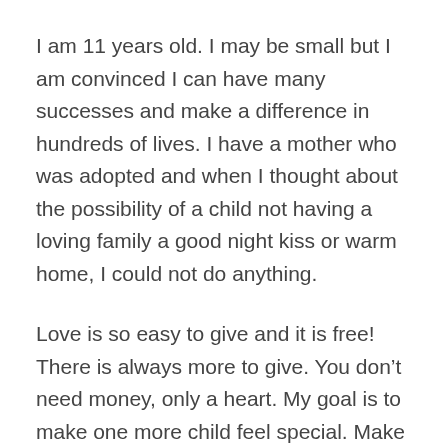I am 11 years old. I may be small but I am convinced I can have many successes and make a difference in hundreds of lives. I have a mother who was adopted and when I thought about the possibility of a child not having a loving family a good night kiss or warm home, I could not do anything.
Love is so easy to give and it is free! There is always more to give. You don't need money, only a heart. My goal is to make one more child feel special. Make one more child feel as though there is LOVE out there in the world. I hope and believe I will grow “Lexxi Loves” bigger every year.
I have been blessed with a wonderful loving family, and now recently a gift from God- a beautiful voice to